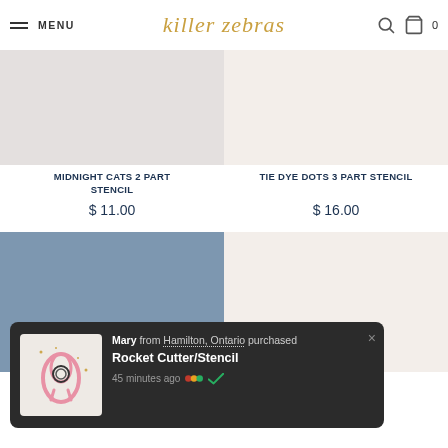MENU | killer zebras | 0
[Figure (photo): Product image placeholder for Midnight Cats 2 Part Stencil - grey rectangle]
[Figure (photo): Product image placeholder for Tie Dye Dots 3 Part Stencil - cream rectangle]
MIDNIGHT CATS 2 PART STENCIL
$ 11.00
TIE DYE DOTS 3 PART STENCIL
$ 16.00
[Figure (photo): Product image placeholder - blue/slate rectangle]
[Figure (photo): Product image placeholder - cream/beige rectangle]
[Figure (photo): Notification popup product image - Rocket Cutter/Stencil cookie cutter on light background]
Mary from Hamilton, Ontario purchased Rocket Cutter/Stencil 45 minutes ago
STENCIL
$ 5.50
$ 16.00